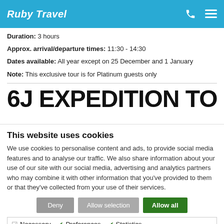Ruby Travel
Duration: 3 hours
Approx. arrival/departure times: 11:30 - 14:30
Dates available: All year except on 25 December and 1 January
Note: This exclusive tour is for Platinum guests only
6J EXPEDITION TO THE
This website uses cookies
We use cookies to personalise content and ads, to provide social media features and to analyse our traffic. We also share information about your use of our site with our social media, advertising and analytics partners who may combine it with other information that you've provided to them or that they've collected from your use of their services.
Deny | Allow selection | Allow all
Necessary | Preferences | Statistics | Marketing | Show details